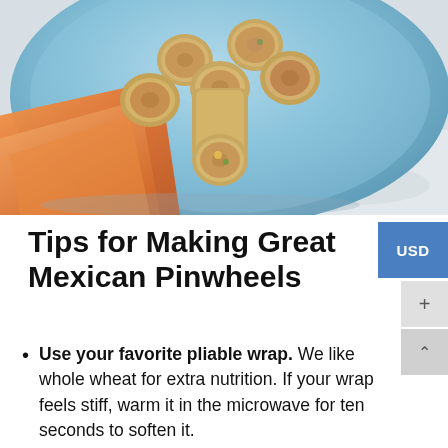[Figure (photo): Photo of Mexican pinwheel rolls on a blue plate with an orange napkin on the side, viewed from above/angled]
Tips for Making Great Mexican Pinwheels
Use your favorite pliable wrap. We like whole wheat for extra nutrition. If your wrap feels stiff, warm it in the microwave for ten seconds to soften it.